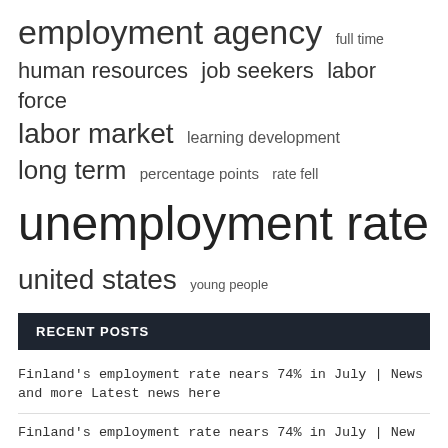employment agency  full time
human resources  job seekers  labor force
labor market  learning development
long term  percentage points  rate fell
unemployment rate
united states  young people
RECENT POSTS
Finland's employment rate nears 74% in July | News and more Latest news here
Finland's employment rate nears 74% in July | New
People – Outsourcing Page, Federal Employment Agency Germany, Keystream